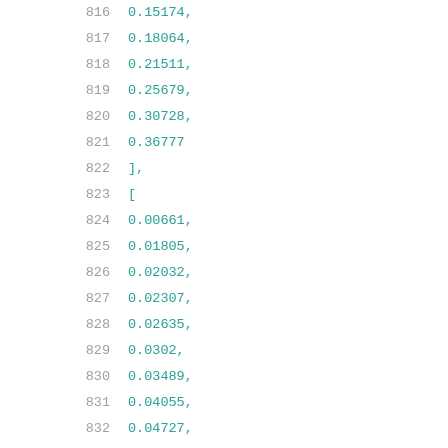816   0.15174,
817   0.18064,
818   0.21511,
819   0.25679,
820   0.30728,
821   0.36777
822   ],
823   [
824   0.00661,
825   0.01805,
826   0.02032,
827   0.02307,
828   0.02635,
829   0.0302,
830   0.03489,
831   0.04055,
832   0.04727,
833   0.05534,
834   0.06505,
835   0.07657,
836   0.0906,
837   0.10745,